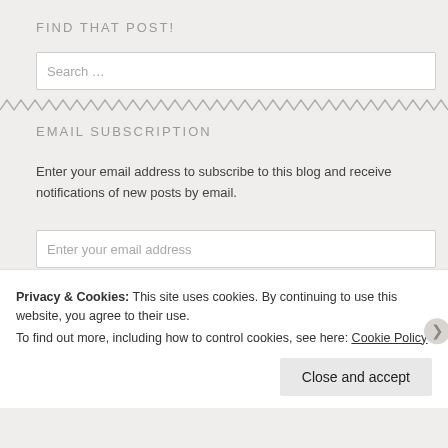FIND THAT POST!
Search …
[Figure (other): Zigzag decorative divider line in gray]
EMAIL SUBSCRIPTION
Enter your email address to subscribe to this blog and receive notifications of new posts by email.
Enter your email address
Privacy & Cookies: This site uses cookies. By continuing to use this website, you agree to their use.
To find out more, including how to control cookies, see here: Cookie Policy
Close and accept